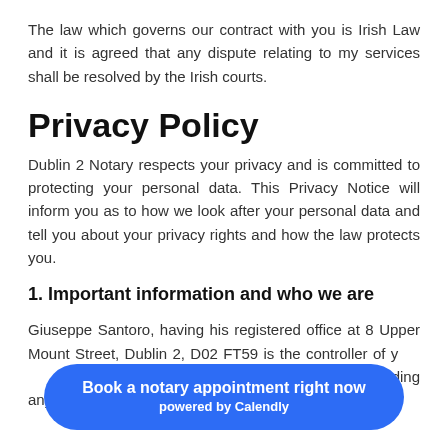The law which governs our contract with you is Irish Law and it is agreed that any dispute relating to my services shall be resolved by the Irish courts.
Privacy Policy
Dublin 2 Notary respects your privacy and is committed to protecting your personal data. This Privacy Notice will inform you as to how we look after your personal data and tell you about your privacy rights and how the law protects you.
1.  Important information and who we are
Giuseppe Santoro, having his registered office at 8 Upper Mount Street, Dublin 2, D02 FT59 is the controller of y... this Privacy Notice, including any requests to exercise
Book a notary appointment right now
powered by Calendly